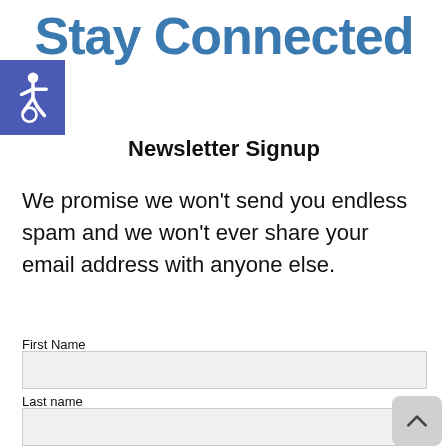Stay Connected
[Figure (illustration): Blue square with white wheelchair accessibility icon]
Newsletter Signup
We promise we won't send you endless spam and we won't ever share your email address with anyone else.
First Name
Last name
Email